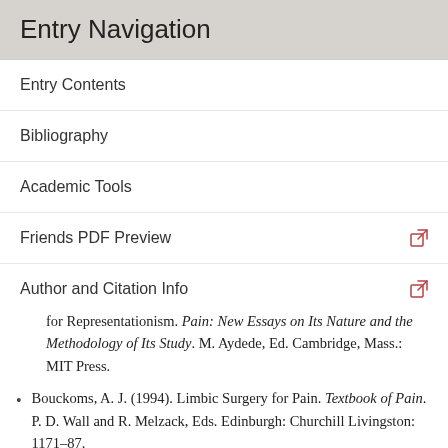Entry Navigation
Entry Contents
Bibliography
Academic Tools
Friends PDF Preview
Author and Citation Info
for Representationism. Pain: New Essays on Its Nature and the Methodology of Its Study. M. Aydede, Ed. Cambridge, Mass.: MIT Press.
Bouckoms, A. J. (1994). Limbic Surgery for Pain. Textbook of Pain. P. D. Wall and R. Melzack, Eds. Edinburgh: Churchill Livingston: 1171–87.
Brand, P. W. and P. Yancey (1993). Pain: The Gift Nobody Wants. New York: Harper Collins Publishers.
Broad, C. D. (1959). Scientific Thought. Paterson, NJ: Littlefield, Adams.